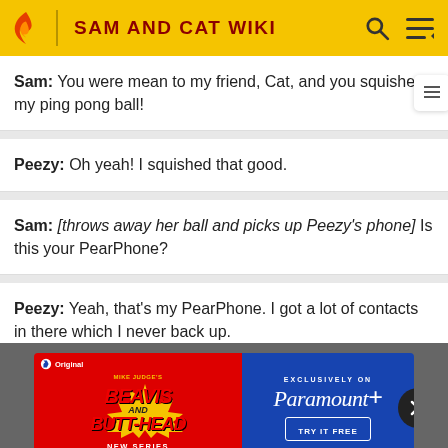SAM AND CAT WIKI
Sam: You were mean to my friend, Cat, and you squished my ping pong ball!
Peezy: Oh yeah! I squished that good.
Sam: [throws away her ball and picks up Peezy's phone] Is this your PearPhone?
Peezy: Yeah, that's my PearPhone. I got a lot of contacts in there which I never back up.
[Figure (screenshot): Paramount+ advertisement for Mike Judge's Beavis and Butt-Head New Series Now Streaming, Exclusively on Paramount+, Try It Free]
Sam:
Peezy: What the–